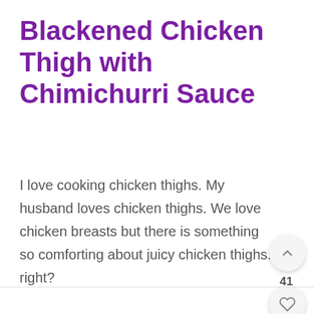Blackened Chicken Thigh with Chimichurri Sauce
I love cooking chicken thighs. My husband loves chicken thighs. We love chicken breasts but there is something so comforting about juicy chicken thighs. right?